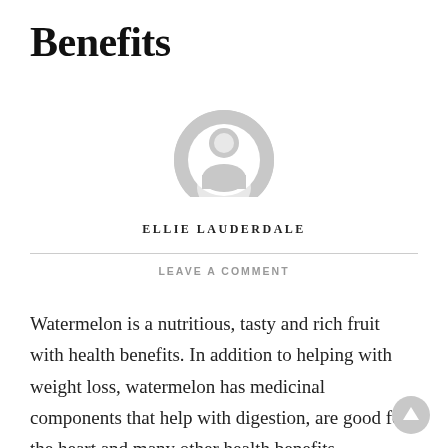Benefits
[Figure (illustration): Generic user avatar icon — a grey circular silhouette with a person shape (head and shoulders)]
ELLIE LAUDERDALE
LEAVE A COMMENT
Watermelon is a nutritious, tasty and rich fruit with health benefits. In addition to helping with weight loss, watermelon has medicinal components that help with digestion, are good for the heart and many other health benefits.
[Figure (illustration): Scroll-to-top button — a small grey circle with an upward arrow icon, positioned bottom-right]